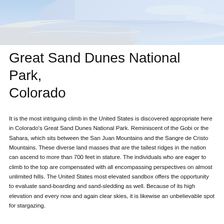[Figure (photo): Aerial view of a beach with white sand, gentle waves, and a light blue-lavender ocean, appearing calm and serene.]
Great Sand Dunes National Park, Colorado
It is the most intriguing climb in the United States is discovered appropriate here in Colorado's Great Sand Dunes National Park. Reminiscent of the Gobi or the Sahara, which sits between the San Juan Mountains and the Sangre de Cristo Mountains. These diverse land masses that are the tallest ridges in the nation can ascend to more than 700 feet in stature. The individuals who are eager to climb to the top are compensated with all encompassing perspectives on almost unlimited hills. The United States most elevated sandbox offers the opportunity to evaluate sand-boarding and sand-sledding as well. Because of its high elevation and every now and again clear skies, it is likewise an unbelievable spot for stargazing.